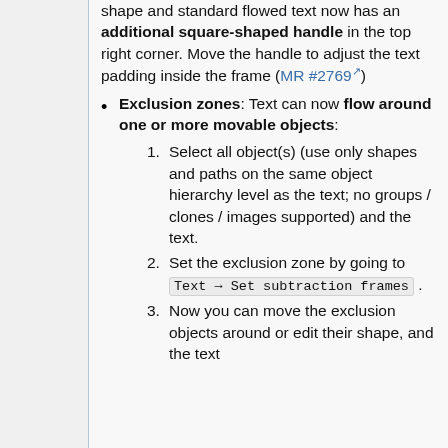shape and standard flowed text now has an additional square-shaped handle in the top right corner. Move the handle to adjust the text padding inside the frame (MR #2769)
Exclusion zones: Text can now flow around one or more movable objects:
1. Select all object(s) (use only shapes and paths on the same object hierarchy level as the text; no groups / clones / images supported) and the text.
2. Set the exclusion zone by going to Text → Set subtraction frames .
3. Now you can move the exclusion objects around or edit their shape, and the text